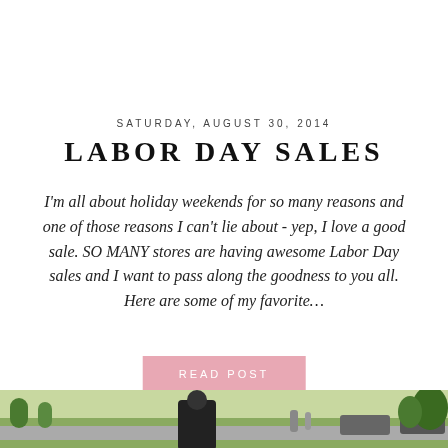SATURDAY, AUGUST 30, 2014
LABOR DAY SALES
I'm all about holiday weekends for so many reasons and one of those reasons I can't lie about - yep, I love a good sale. SO MANY stores are having awesome Labor Day sales and I want to pass along the goodness to you all. Here are some of my favorite…
READ POST
[Figure (photo): Outdoor street scene at bottom of page, partially visible]